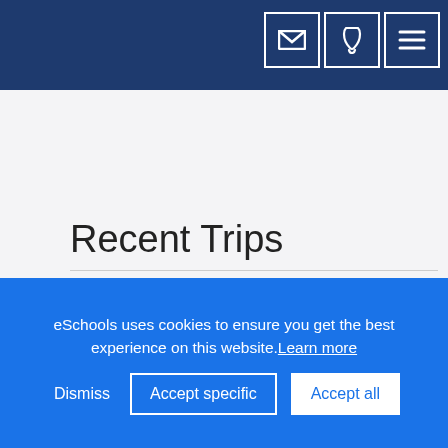Recent Trips
Trips take place for all classes throughout the year to a wide range of locations to support the
eSchools uses cookies to ensure you get the best experience on this website.Learn more Dismiss Accept specific Accept all